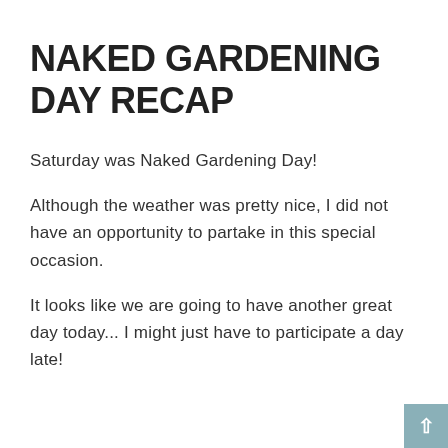NAKED GARDENING DAY RECAP
Saturday was Naked Gardening Day!
Although the weather was pretty nice, I did not have an opportunity to partake in this special occasion.
It looks like we are going to have another great day today... I might just have to participate a day late!